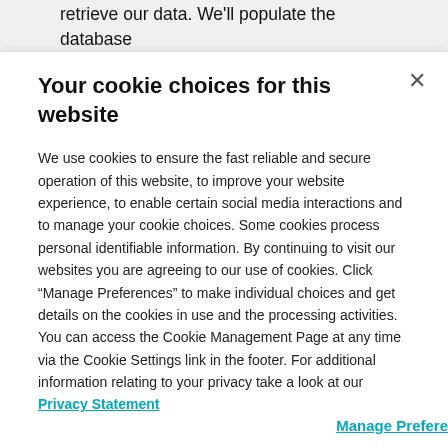retrieve our data. We'll populate the database shortly with the proper path data for each bucket_id
Your cookie choices for this website
We use cookies to ensure the fast reliable and secure operation of this website, to improve your website experience, to enable certain social media interactions and to manage your cookie choices. Some cookies process personal identifiable information. By continuing to visit our websites you are agreeing to our use of cookies. Click “Manage Preferences” to make individual choices and get details on the cookies in use and the processing activities. You can access the Cookie Management Page at any time via the Cookie Settings link in the footer. For additional information relating to your privacy take a look at our Privacy Statement
Manage Preferences